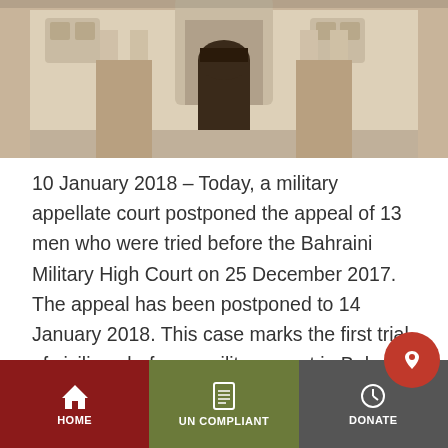[Figure (photo): Photograph of a large ornate white building with arched entrance, likely a government or court building in Bahrain]
10 January 2018 – Today, a military appellate court postponed the appeal of 13 men who were tried before the Bahraini Military High Court on 25 December 2017. The appeal has been postponed to 14 January 2018. This case marks the first trial of civilians before a military court in Bahrain since 2011, after King[...]
Continue reading →
HOME | UN COMPLIANT | DONATE